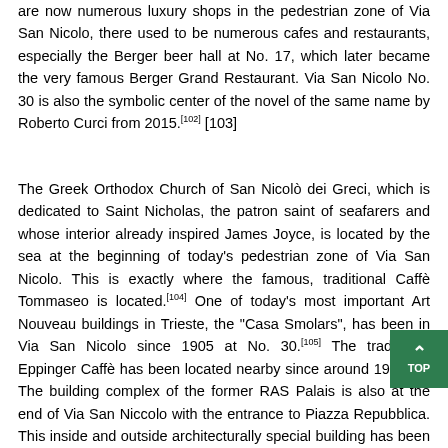are now numerous luxury shops in the pedestrian zone of Via San Nicolo, there used to be numerous cafes and restaurants, especially the Berger beer hall at No. 17, which later became the very famous Berger Grand Restaurant. Via San Nicolo No. 30 is also the symbolic center of the novel of the same name by Roberto Curci from 2015.[102][103]
The Greek Orthodox Church of San Nicolò dei Greci, which is dedicated to Saint Nicholas, the patron saint of seafarers and whose interior already inspired James Joyce, is located by the sea at the beginning of today's pedestrian zone of Via San Nicolo. This is exactly where the famous, traditional Caffè Tommaseo is located.[104] One of today's most important Art Nouveau buildings in Trieste, the "Casa Smolars", has been in Via San Nicolo since 1905 at No. 30.[105] The traditional Eppinger Caffè has been located nearby since around 1946.[106] The building complex of the former RAS Palais is also at the end of Via San Niccolo with the entrance to Piazza Repubblica. This inside and outside architecturally special building has been completely renovated and has been a hotel since 2019.[107]